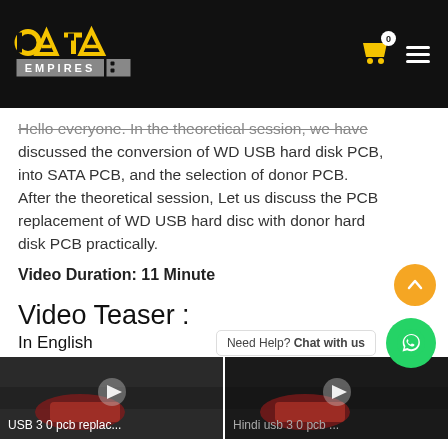[Figure (logo): Data Empires logo with yellow stylized letters on black background]
Hello everyone. In the theoretical session, we have discussed the conversion of WD USB hard disk PCB, into SATA PCB, and the selection of donor PCB. After the theoretical session, Let us discuss the PCB replacement of WD USB hard disc with donor hard disk PCB practically.
Video Duration: 11 Minute
Video Teaser :
In English
In Hindi
[Figure (screenshot): Video thumbnail for USB 3 0 pcb replac... in English]
[Figure (screenshot): Video thumbnail for Hindi usb 3 0 pcb ... in Hindi]
Need Help? Chat with us